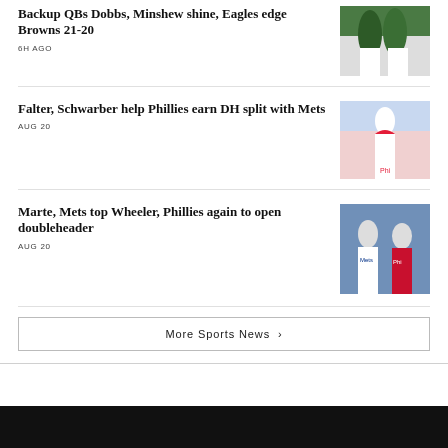Backup QBs Dobbs, Minshew shine, Eagles edge Browns 21-20
6H AGO
[Figure (photo): Eagles players in green uniforms on field]
Falter, Schwarber help Phillies earn DH split with Mets
AUG 20
[Figure (photo): Phillies pitcher in white uniform throwing]
Marte, Mets top Wheeler, Phillies again to open doubleheader
AUG 20
[Figure (photo): Mets and Phillies players on field]
More Sports News ›